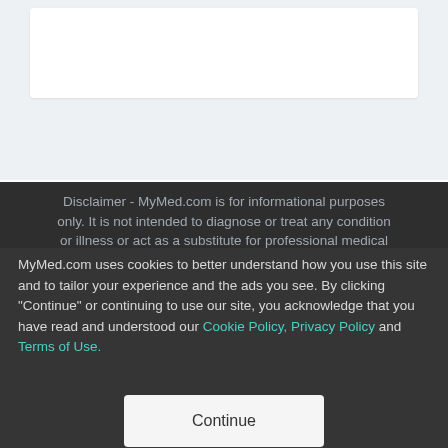[Figure (screenshot): White card element on a light gray background, partial view of a webpage]
Disclaimer - MyMed.com is for informational purposes only. It is not intended to diagnose or treat any condition or illness or act as a substitute for professional medical
MyMed.com uses cookies to better understand how you use this site and to tailor your experience and the ads you see. By clicking "Continue" or continuing to use our site, you acknowledge that you have read and understood our Cookie Policy, Privacy Policy and Terms of Use.
Continue